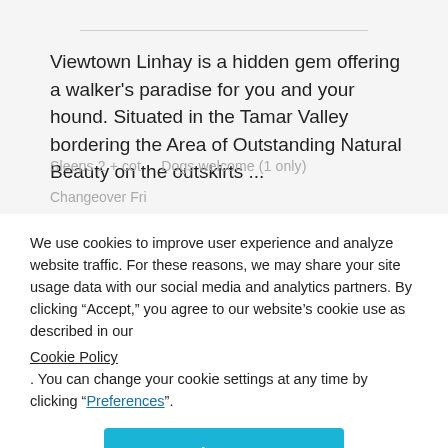Viewtown Linhay is a hidden gem offering a walker's paradise for you and your hound. Situated in the Tamar Valley bordering the Area of Outstanding Natural Beauty on the outskirts ...
Sleeps 2 + cot    Dogs welcome (1 only)
Changeover Fri
We use cookies to improve user experience and analyze website traffic. For these reasons, we may share your site usage data with our social media and analytics partners. By clicking “Accept,” you agree to our website’s cookie use as described in our Cookie Policy . You can change your cookie settings at any time by clicking “Preferences”.